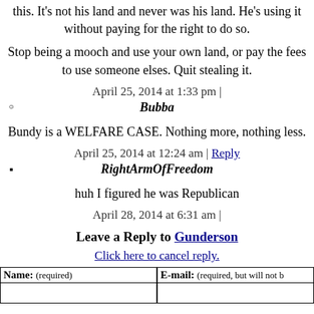this. It's not his land and never was his land. He's using it without paying for the right to do so.
Stop being a mooch and use your own land, or pay the fees to use someone elses. Quit stealing it.
April 25, 2014 at 1:33 pm |
Bubba
Bundy is a WELFARE CASE. Nothing more, nothing less.
April 25, 2014 at 12:24 am | Reply
RightArmOfFreedom
huh I figured he was Republican
April 28, 2014 at 6:31 am |
Leave a Reply to Gunderson
Click here to cancel reply.
| Name: (required) | E-mail: (required, but will not be published) |
| --- | --- |
|  |  |